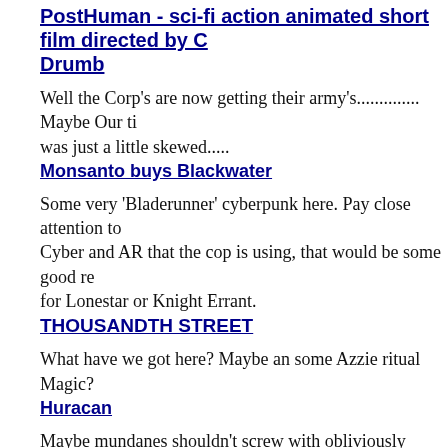PostHuman - sci-fi action animated short film directed by C Drumb
Well the Corp's are now getting their army's.............. Maybe Our ti was just a little skewed.....
Monsanto buys Blackwater
Some very 'Bladerunner' cyberpunk here. Pay close attention to Cyber and AR that the cop is using, that would be some good re for Lonestar or Knight Errant.
THOUSANDTH STREET
What have we got here? Maybe an some Azzie ritual Magic?
Huracan
Maybe mundanes shouldn't screw with obliviously magical arifa hunh?
Amock
Well looks like we can get that Vision Magnification mod that we now.
Telescopic Contact Lenses